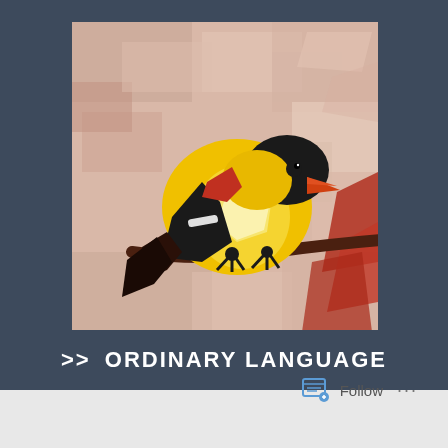[Figure (illustration): Oil painting of a goldfinch bird (yellow, black, and red plumage) perched on a brown branch, against a muted pink brushstroke background with red foliage accents. Bold, painterly style with geometric color blocks.]
>> ORDINARY LANGUAGE
Follow ...